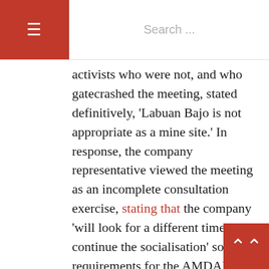≡  Search ...
activists who were not, and who gatecrashed the meeting, stated definitively, 'Labuan Bajo is not appropriate as a mine site.' In response, the company representative viewed the meeting as an incomplete consultation exercise, stating that the company 'will look for a different time to continue the socialisation' so the requirements for the AMDAL will be fulfilled. This leaves the future of the Komodo National Park, as well as NTT's other national parks, in doubt. This is true both in terms of the amount of input allowed of the communities living on the boundaries of a potential mine site, but also more broadly in terms of the amount of benefit that they will eventually receive from the various extractive